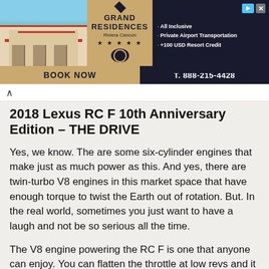[Figure (photo): Grand Residences Riviera Cancun advertisement banner showing resort building photo on left, center branding with logo and five stars, and dark right panel with bullet points: All Inclusive, Private Airport Transportation, +100 USD Resort Credit. Bottom strip shows BOOK NOW and T. 888-215-4428]
2018 Lexus RC F 10th Anniversary Edition – THE DRIVE
Yes, we know. The are some six-cylinder engines that make just as much power as this. And yes, there are twin-turbo V8 engines in this market space that have enough torque to twist the Earth out of rotation. But. In the real world, sometimes you just want to have a laugh and not be so serious all the time.
The V8 engine powering the RC F is one that anyone can enjoy. You can flatten the throttle at low revs and it will progressively build power and torque. It won't hit you with an instant tidal wave